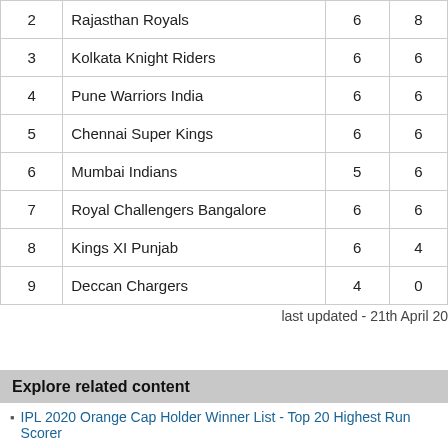| # | Team | P | W |
| --- | --- | --- | --- |
| 2 | Rajasthan Royals | 6 | 8 |
| 3 | Kolkata Knight Riders | 6 | 6 |
| 4 | Pune Warriors India | 6 | 6 |
| 5 | Chennai Super Kings | 6 | 6 |
| 6 | Mumbai Indians | 5 | 6 |
| 7 | Royal Challengers Bangalore | 6 | 6 |
| 8 | Kings XI Punjab | 6 | 4 |
| 9 | Deccan Chargers | 4 | 0 |
last updated - 21th April 20
Explore related content
IPL 2020 Orange Cap Holder Winner List - Top 20 Highest Run Scorer
Rajasthan Royals Jersey 2012 Photos IPL 5 Team New Players